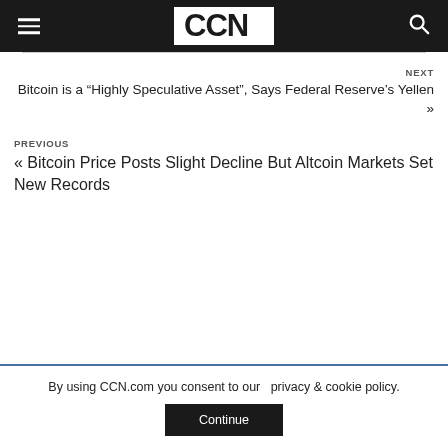CCN
NEXT
Bitcoin is a “Highly Speculative Asset”, Says Federal Reserve’s Yellen »
PREVIOUS
« Bitcoin Price Posts Slight Decline But Altcoin Markets Set New Records
By using CCN.com you consent to our  privacy & cookie policy.
Continue